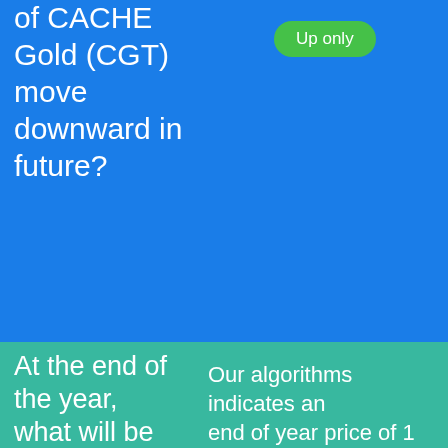of CACHE Gold (CGT) move downward in future?
Up only
| Question | Answer |
| --- | --- |
| At the end of the year, what will be the price of 1 CACHE Gold? | Our algorithms indicates an end of year price of 1 CGT = $631.7328 USD. |
| What is the CACHE Gold price prediction for 2025? | By the year 2025, the price of one CGT could be as high as $3158.6639 USD |
| CACHE Gold | Too hard to predict. The |